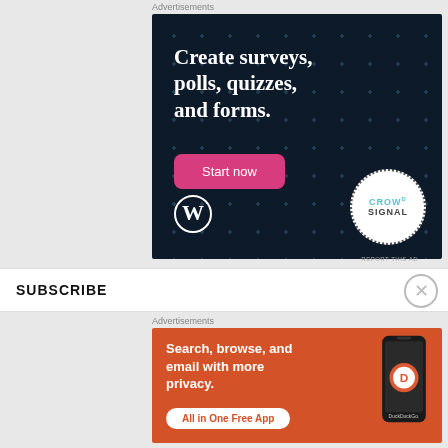Advertisements
[Figure (illustration): Dark navy blue advertisement for CrowdSignal/WordPress showing text 'Create surveys, polls, quizzes, and forms.' with a pink 'Start now' button, WordPress logo bottom left, and CrowdSignal logo circle bottom right]
REPORT THIS AD
SUBSCRIBE
Advertisements
[Figure (illustration): Orange advertisement for DuckDuckGo showing text 'Search, browse, and email with more privacy.' with 'All in One Free App' button and a phone image with DuckDuckGo logo]